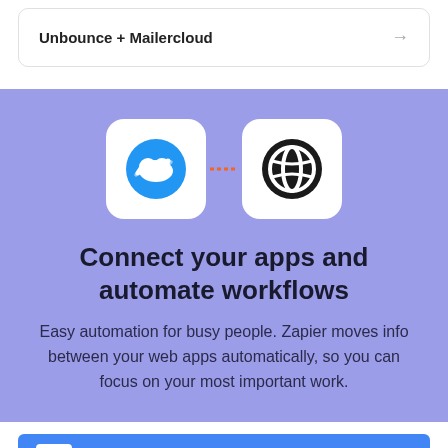Unbounce + Mailercloud →
[Figure (illustration): Two app icons connected by an orange dashed line: a blue circle with a cloud (Unbounce) and a dark circle with a leaf/globe icon (Mailercloud), each inside a white rounded square]
Connect your apps and automate workflows
Easy automation for busy people. Zapier moves info between your web apps automatically, so you can focus on your most important work.
Sign up with Google